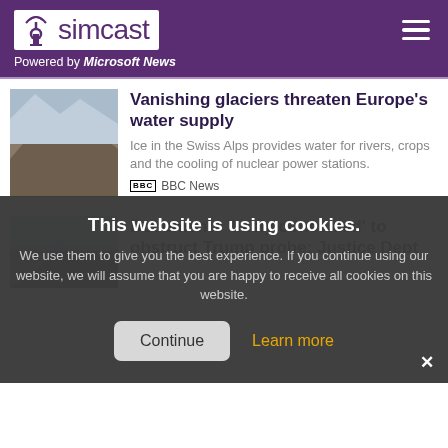simcast — Powered by Microsoft News
[Figure (photo): Thumbnail of glacier/mountain landscape]
Vanishing glaciers threaten Europe's water supply
Ice in the Swiss Alps provides water for rivers, crops and the cooling of nuclear power stations.
BBC News
Documents 'likely concealed' to obstruct Trump probe: Justice Dept
who is weighing another...
AFP
Elon Musk cites whistleblower claims as another reason to back out of Twitter
This website is using cookies. We use them to give you the best experience. If you continue using our website, we will assume that you are happy to receive all cookies on this website.